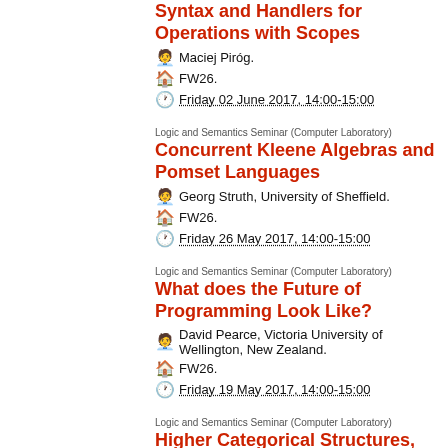Syntax and Handlers for Operations with Scopes
Maciej Piróg.
FW26.
Friday 02 June 2017, 14:00-15:00
Logic and Semantics Seminar (Computer Laboratory)
Concurrent Kleene Algebras and Pomset Languages
Georg Struth, University of Sheffield.
FW26.
Friday 26 May 2017, 14:00-15:00
Logic and Semantics Seminar (Computer Laboratory)
What does the Future of Programming Look Like?
David Pearce, Victoria University of Wellington, New Zealand.
FW26.
Friday 19 May 2017, 14:00-15:00
Logic and Semantics Seminar (Computer Laboratory)
Higher Categorical Structures, Type-Theoretically
Nicolai Kraus, University of Nottingham.
FW26.